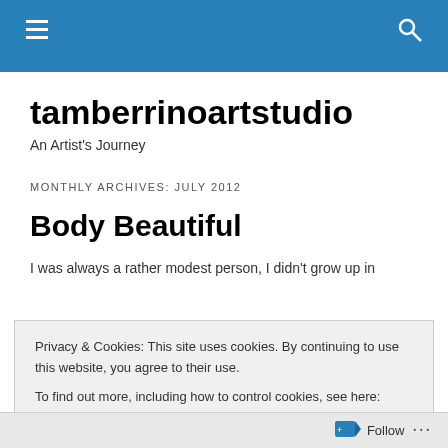tamberrinoartstudio navigation bar
tamberrinoartstudio
An Artist's Journey
MONTHLY ARCHIVES: JULY 2012
Body Beautiful
I was always a rather modest person, I didn't grow up in
Privacy & Cookies: This site uses cookies. By continuing to use this website, you agree to their use.
To find out more, including how to control cookies, see here: Cookie Policy
Close and accept
Follow